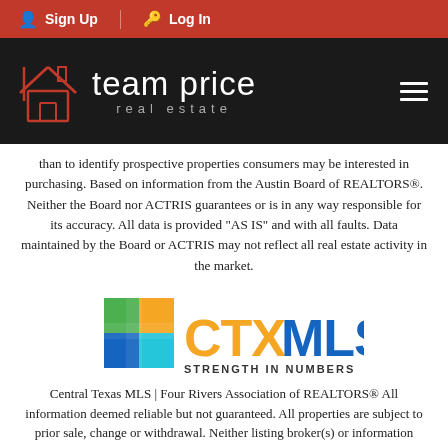Sign Up  Log In
[Figure (logo): Team Price Real Estate logo: house outline icon in red/white on black background, with text 'team price real estate' in white]
than to identify prospective properties consumers may be interested in purchasing. Based on information from the Austin Board of REALTORS®. Neither the Board nor ACTRIS guarantees or is in any way responsible for its accuracy. All data is provided "AS IS" and with all faults. Data maintained by the Board or ACTRIS may not reflect all real estate activity in the market.
[Figure (logo): CTXMLS logo with colorful Texas star cross shape and text 'CTX MLS STRENGTH IN NUMBERS']
Central Texas MLS | Four Rivers Association of REALTORS® All information deemed reliable but not guaranteed. All properties are subject to prior sale, change or withdrawal. Neither listing broker(s) or information provider(s) shall be responsible for any typographical errors, misinformation, misprints and shall be held